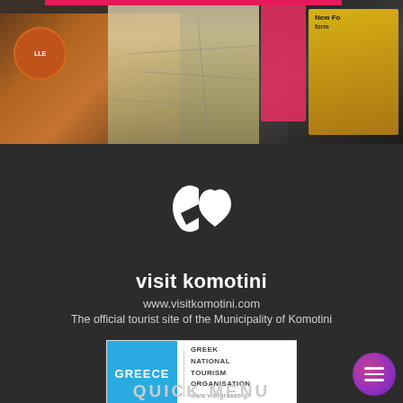[Figure (photo): Photo strip at top showing travel items: leather bag/wallet on left, map in center, travel guides/books on right including 'New Form' text visible]
[Figure (logo): Visit Komotini logo - white stylized heart/K shape icon on dark background]
visit komotini
www.visitkomotini.com
The official tourist site of the Municipality of Komotini
[Figure (logo): Greek National Tourism Organisation badge: blue box with GREECE text on left, divider, then GREEK NATIONAL TOURISM ORGANISATION and www.visitgreece.gr on white background]
[Figure (other): Purple-pink gradient circular hamburger/menu button in bottom right corner]
QUICK MENU